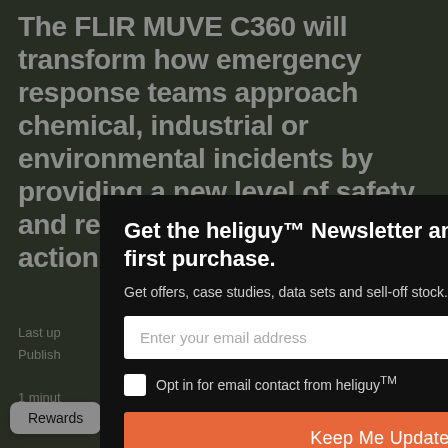The FLIR MUVE C360 will transform how emergency response teams approach chemical, industrial or environmental incidents by providing a new level of safety and reducing the time to action.
Last up...
Publish...
1 minut...
Cli...
[Figure (screenshot): Modal popup overlay with newsletter signup form on dark background. Title: 'Get the heliguy™ Newsletter and £10 off your first purchase.' Subtitle: 'Get offers, case studies, data sets and sell-off stock.' Email input field, checkbox 'Opt in for email contact from heliguy™', and orange 'Keep Me Updated' button. Close button (X) in top right corner.]
Rewards